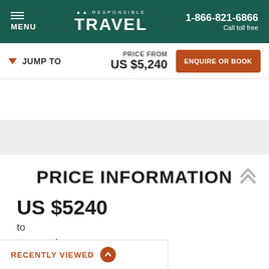MENU | RESPONSIBLE TRAVEL | 1-866-821-6866 Call toll free
JUMP TO | PRICE FROM US $5,240 | ENQUIRE OR BOOK
PRICE INFORMATION
US $5240
to
US $7575
RECENTLY VIEWED